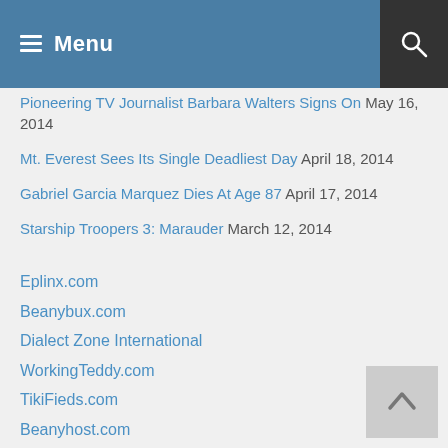Menu
Pioneering TV Journalist Barbara Walters Signs On  May 16, 2014
Mt. Everest Sees Its Single Deadliest Day  April 18, 2014
Gabriel Garcia Marquez Dies At Age 87  April 17, 2014
Starship Troopers 3: Marauder  March 12, 2014
Eplinx.com
Beanybux.com
Dialect Zone International
WorkingTeddy.com
TikiFieds.com
Beanyhost.com
Buy CCleaner Professional today!
Buy CCleaner Professional Plus today!
Buy CCleaner for your Mac today!
Buy CCleaner for your Business today!
Buy CCleaner for your Business today!